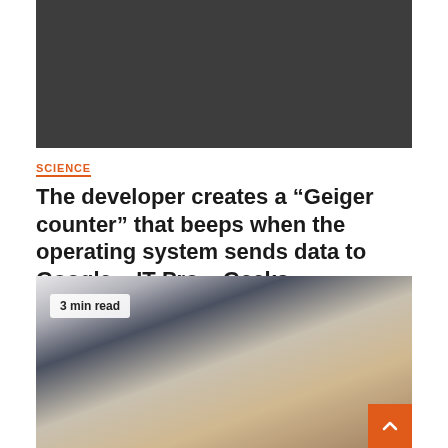[Figure (photo): Dark gray rectangular image placeholder at top of article]
SCIENCE
The developer creates a “Geiger counter” that beeps when the operating system sends data to Google – IT Pro – Geeks
August 23, 2022   Courtney Horton
[Figure (photo): Photo of a Dallas Cowboys NFL player wearing helmet and gloves with hands raised, blurred background with crowd colors. Overlay badge reads '3 min read'. Orange scroll-to-top button in bottom right corner.]